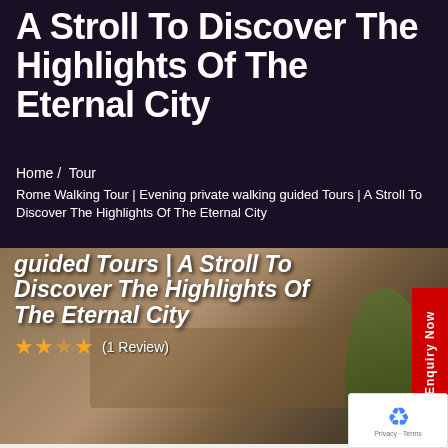A Stroll To Discover The Highlights Of The Eternal City
Home /  Tour
Rome Walking Tour | Evening private walking guided Tours | A Stroll To Discover The Highlights Of The Eternal City
[Figure (photo): Photograph of Rome showing ancient ruins including the Colosseum and arch with umbrella pine trees, overlaid with bold white text reading: guided Tours | A Stroll To Discover The Highlights Of The Eternal City, and star rating with (1 Review)]
Enquiry Now
[Figure (other): reCAPTCHA widget with Privacy and Terms links]